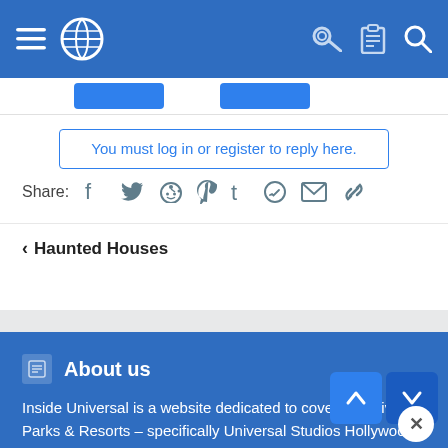Inside Universal – navigation bar with hamburger menu, globe icon, key icon, clipboard icon, search icon
You must log in or register to reply here.
Share:
< Haunted Houses
About us
Inside Universal is a website dedicated to covering Universal Parks & Resorts – specifically Universal Studios Hollywood and Universal Orlando – with a team of editors dedicated to covering the parks with a fact-based, non-sensationalist driven perspective aimed at education and informing our readers. Inside Universal seeks a